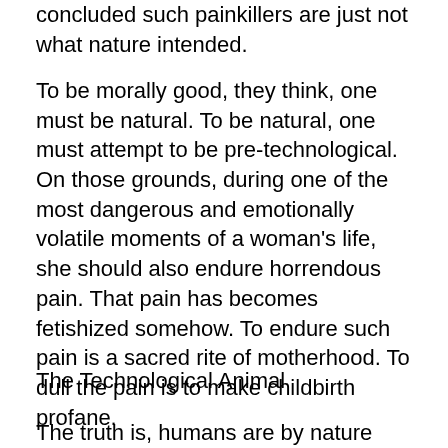concluded such painkillers are just not what nature intended.
To be morally good, they think, one must be natural. To be natural, one must attempt to be pre-technological. On those grounds, during one of the most dangerous and emotionally volatile moments of a woman's life, she should also endure horrendous pain. That pain has becomes fetishized somehow. To endure such pain is a sacred rite of motherhood. To dull the pain is to make childbirth profane.
The Technological Animal
The truth is, humans are by nature